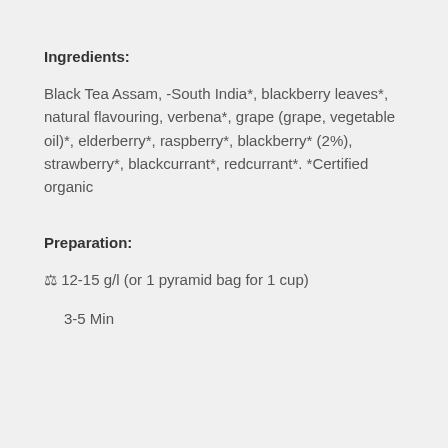Ingredients:
Black Tea Assam, -South India*, blackberry leaves*, natural flavouring, verbena*, grape (grape, vegetable oil)*, elderberry*, raspberry*, blackberry* (2%), strawberry*, blackcurrant*, redcurrant*. *Certified organic
Preparation:
⚖ 12-15 g/l (or 1 pyramid bag for 1 cup)
3-5 Min